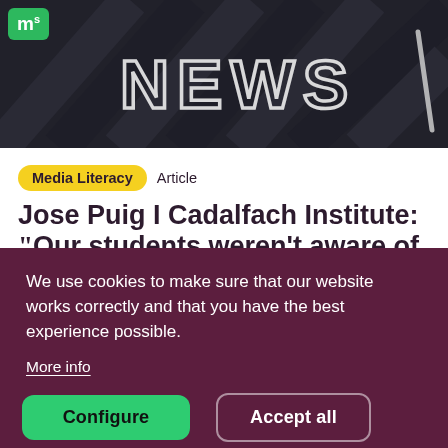[Figure (photo): Dark background image with white text 'NEWS' written in chalk or on a blackboard, keyboard-like surface]
m [logo]
Media Literacy   Article
Jose Puig I Cadalfach Institute: “Our students weren’t aware of the dangers
We use cookies to make sure that our website works correctly and that you have the best experience possible.
More info
Configure
Accept all